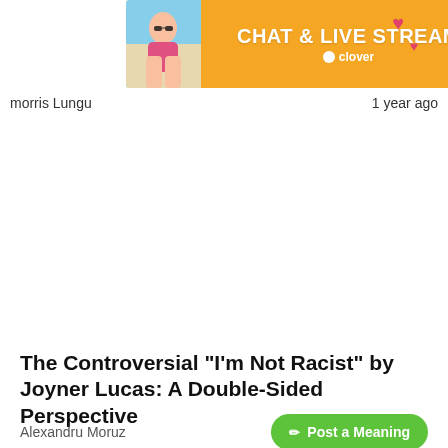[Figure (other): Advertisement banner with orange background showing 'CHAT & LIVE STREAM' text and Clover branding, with a woman in bikini photo on the left and heart emojis]
morris Lungu   1 year ago
The Controversial "I'm Not Racist" by Joyner Lucas: A Double-Sided Perspective
Alexandru Moruz
[Figure (other): Green 'Post a Meaning' button with pencil icon]